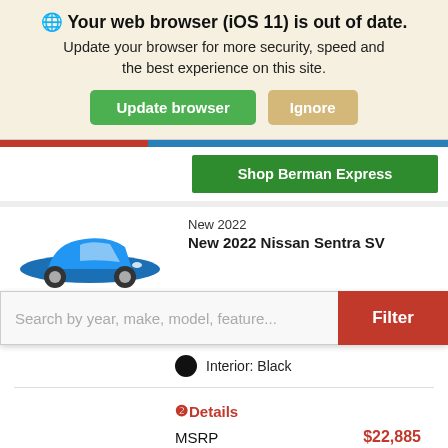🌐 Your web browser (iOS 11) is out of date. Update your browser for more security, speed and the best experience on this site.
Update browser | Ignore
Shop Berman Express
New 2022
New 2022 Nissan Sentra SV
[Figure (screenshot): Blue Nissan Sentra SV car image partially visible]
Search by year, make, model, feature... Filter
Interior: Black
❷Details
MSRP $22,885
Schedule Test Drive